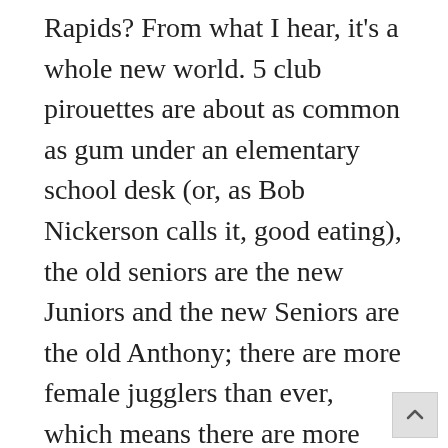Rapids? From what I hear, it's a whole new world. 5 club pirouettes are about as common as gum under an elementary school desk (or, as Bob Nickerson calls it, good eating), the old seniors are the new Juniors and the new Seniors are the old Anthony; there are more female jugglers than ever, which means there are more jugglers who actually bathe; The Passing Zone used to get more bookings than the rest of us, now they make more money than all of us. Combined. Seriously. These guys work harder than Kellyanne Conway after a really bad tweet. The IJA has also finally put its toes into true international waters. In recent competitions,